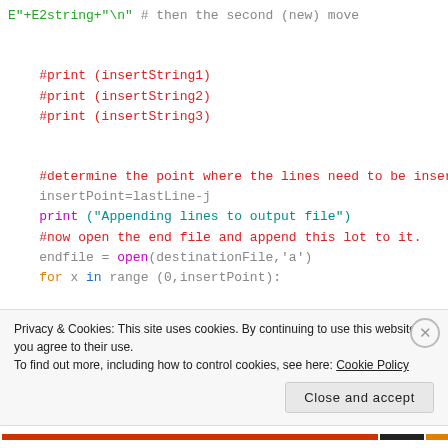E"+E2string+"\n" # then the second (new) move
#print (insertString1)
#print (insertString2)
#print (insertString3)
#determine the point where the lines need to be inserted
insertPoint=lastLine-j
print ("Appending lines to output file")
#now open the end file and append this lot to it.
endfile = open(destinationFile,'a')
for x in range (0,insertPoint):
Privacy & Cookies: This site uses cookies. By continuing to use this website, you agree to their use.
To find out more, including how to control cookies, see here: Cookie Policy
Close and accept